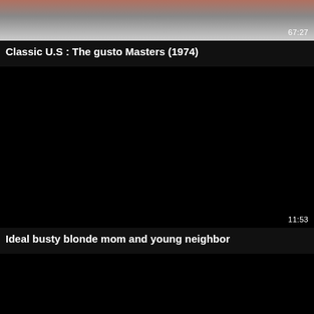[Figure (screenshot): Video thumbnail showing partial figure, brownish/grey tones, with duration overlay 67:27]
Classic U.S : The gusto Masters (1974)
[Figure (screenshot): Black video thumbnail with duration overlay 11:53]
Ideal busty blonde mom and young neighbor
[Figure (screenshot): Black video thumbnail, partially visible at bottom of page]